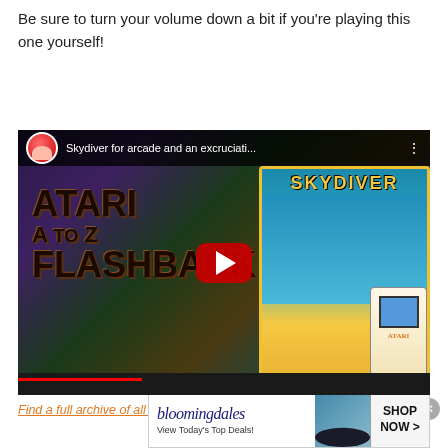Be sure to turn your volume down a bit if you're playing this one yourself!
[Figure (screenshot): YouTube video thumbnail for 'Skydiver for arcade and an excruciati...' — Atari A to Z Flashback series. Shows bold text 'ATARI A TO Z FLASHBACK' on left side over colorful background, Skydiver arcade game promotional art on the right with an arcade cabinet image, and a YouTube play button in the center.]
Find a full archive of all the Atari A to Z videos on the official site.
Advertisements
[Figure (screenshot): Bloomingdales advertisement banner: logo text 'bloomingdales' with tagline 'View Today's Top Deals!' on left, stylized figure with hat in middle, 'SHOP NOW >' button on right.]